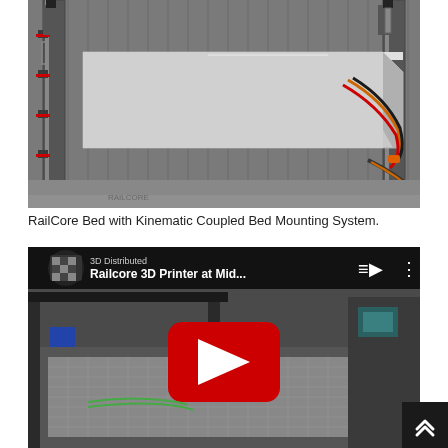[Figure (photo): RailCore 3D printer bed assembly with kinematic coupled bed mounting system. Shows a large aluminum plate mounted on vertical rails with wiring visible on the right side.]
RailCore Bed with Kinematic Coupled Bed Mounting System.
[Figure (screenshot): YouTube video thumbnail showing 'Railcore 3D Printer at Mid...' by 3D Distributed channel. The video shows a 3D printer in operation with a red YouTube play button overlay in the center.]